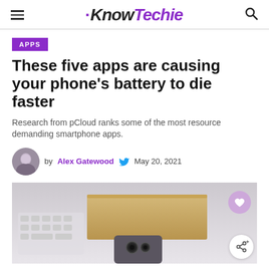KnowTechie
APPS
These five apps are causing your phone's battery to die faster
Research from pCloud ranks some of the most resource demanding smartphone apps.
by Alex Gatewood  May 20, 2021
[Figure (photo): A smartphone and a MacBook keyboard on a white desk surface, shot from above at a low angle. The phone has a triple camera array visible.]